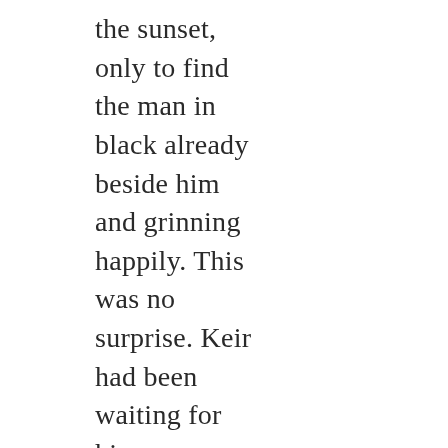the sunset, only to find the man in black already beside him and grinning happily. This was no surprise. Keir had been waiting for him every night for the last two weeks.